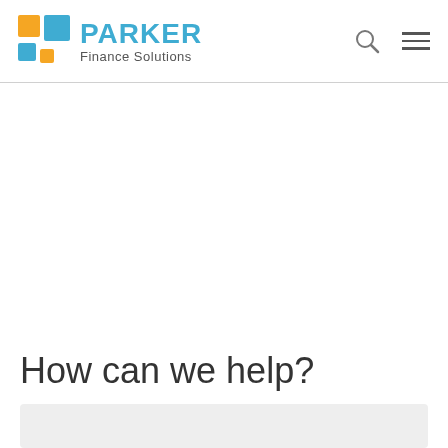PARKER Finance Solutions
How can we help?